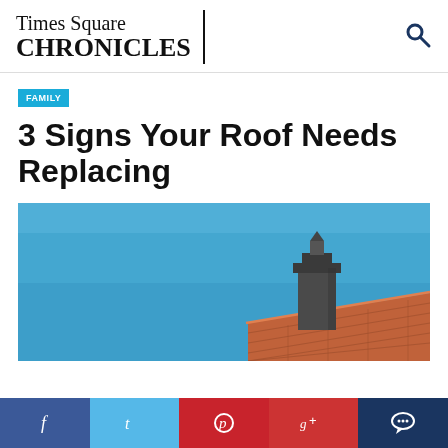Times Square CHRONICLES
FAMILY
3 Signs Your Roof Needs Replacing
[Figure (photo): Photo of a house rooftop with terracotta tiles and a chimney against a clear blue sky]
Facebook | Twitter | Pinterest | Google+ | Comment